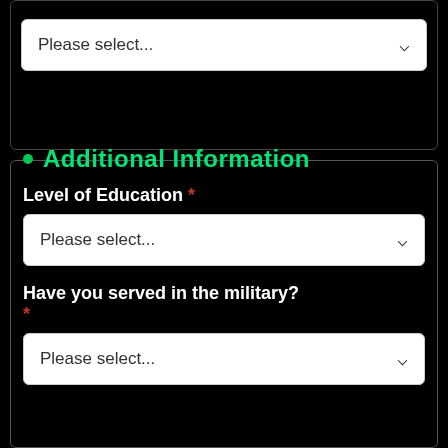Please select...
Additional Information
Level of Education *
Please select...
Have you served in the military? *
Please select...
Do you speak any languages other than English?
Spanish
African Languages (Swahili, Bantu)
American Sign